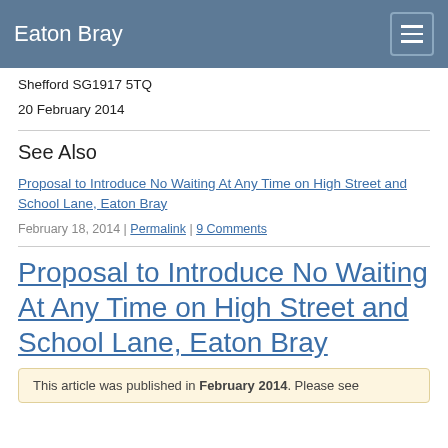Eaton Bray
Shefford SG1917 5TQ
20 February 2014
See Also
Proposal to Introduce No Waiting At Any Time on High Street and School Lane, Eaton Bray
February 18, 2014 | Permalink | 9 Comments
Proposal to Introduce No Waiting At Any Time on High Street and School Lane, Eaton Bray
This article was published in February 2014. Please see